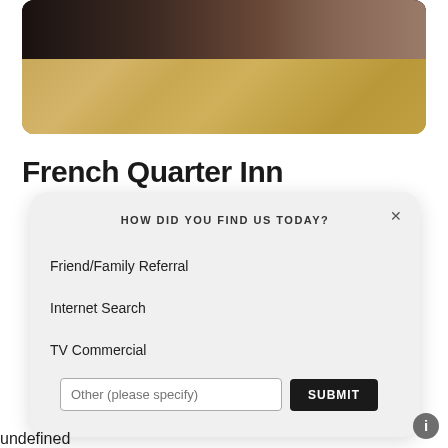[Figure (photo): Hotel bedroom photo showing a modern room with wooden floors, a bed with blue and brown bedding, and dark wood furniture]
French Quarter Inn
HOW DID YOU FIND US TODAY?
Friend/Family Referral
Internet Search
TV Commercial
Other (please specify) — SUBMIT
undefined